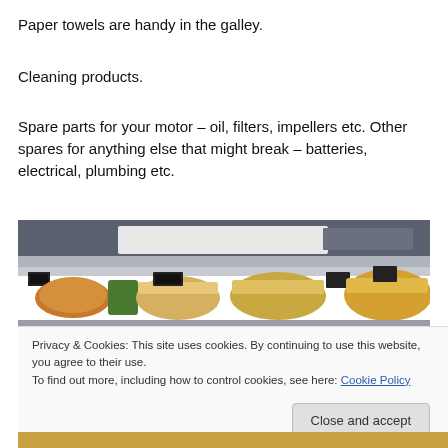Paper towels are handy in the galley.
Cleaning products.
Spare parts for your motor – oil, filters, impellers etc. Other spares for anything else that might break – batteries, electrical, plumbing etc.
[Figure (photo): Photo of a grocery store refrigerated display case showing packaged bread and produce items with price tags, with a white cutting board or lid on top of the unit.]
Privacy & Cookies: This site uses cookies. By continuing to use this website, you agree to their use.
To find out more, including how to control cookies, see here: Cookie Policy
[Close and accept]